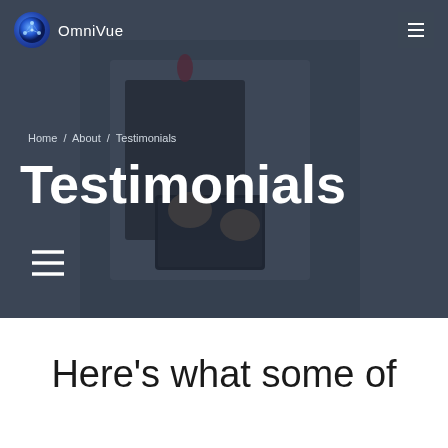OmniVue
[Figure (photo): Dark, muted background photo of a medical professional in a white coat holding a tablet device and clipboard, with stethoscope visible]
Home / About / Testimonials
Testimonials
Here's what some of